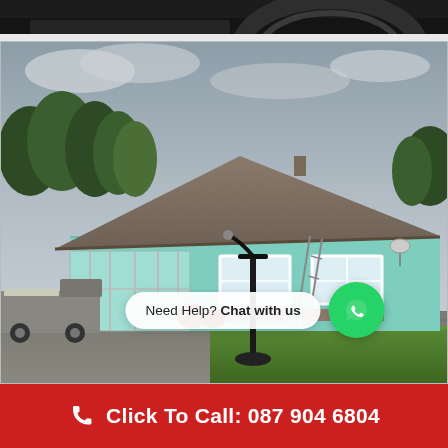[Figure (photo): Partial view of car tyre/wheel on dark background strip at top of page]
[Figure (photo): Exterior photo of a single-storey bungalow with light blue/teal painted walls, grey tiled roof, white-framed windows and sunroom extension. Trees visible in background, small truck parked on left. Overcast sky. WhatsApp chat bubble overlay reading 'Need Help? Chat with us' with green WhatsApp icon.]
Need Help? Chat with us
Click To Call: 087 904 6804